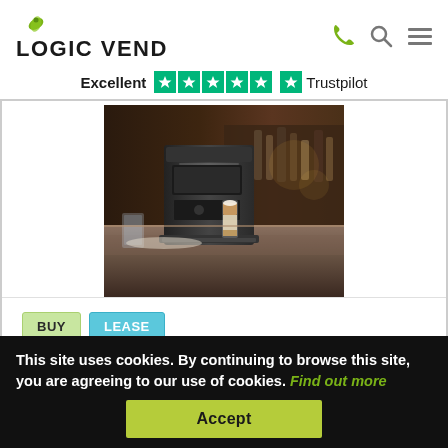[Figure (logo): Logic Vending logo with green leaf accent and bold uppercase text]
Excellent ★★★★★ Trustpilot
[Figure (photo): Coffee machine on a bar counter with a latte glass, dark moody background with bottles in background]
BUY
LEASE
This site uses cookies. By continuing to browse this site, you are agreeing to our use of cookies. Find out more
Accept